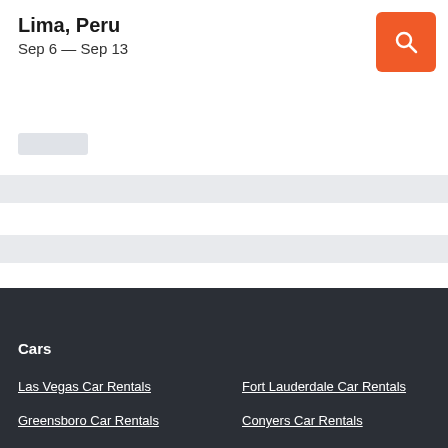Lima, Peru
Sep 6 — Sep 13
[Figure (screenshot): Orange search button with magnifying glass icon]
[Figure (screenshot): Loading skeleton placeholder bar 1]
[Figure (screenshot): Loading skeleton placeholder bar 2]
[Figure (screenshot): Loading skeleton placeholder bar 3]
Cars
Las Vegas Car Rentals
Fort Lauderdale Car Rentals
Greensboro Car Rentals
Conyers Car Rentals
Seattle Car Rentals
Memmingen Car Rentals